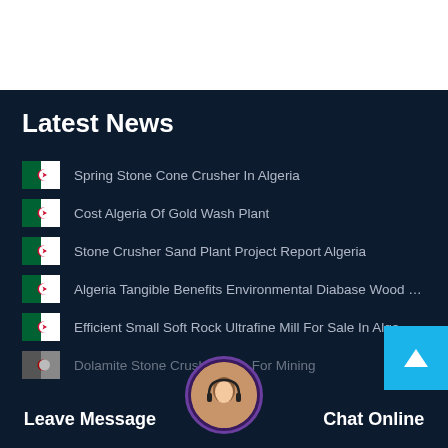Latest News
Spring Stone Cone Crusher In Algeria
Cost Algeria Of Gold Wash Plant
Stone Crusher Sand Plant Project Report Algeria
Algeria Tangible Benefits Environmental Diabase Wood Chi...
Efficient Small Soft Rock Ultrafine Mill For Sale In Alge...
Dolamite Stone Crush... Sale For Mining
Sierra Leone Iron Ore Production
Leave Message   Chat Online